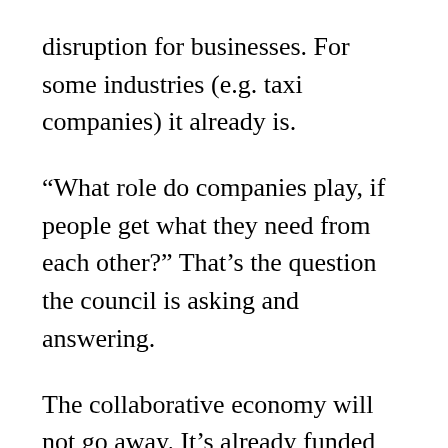disruption for businesses. For some industries (e.g. taxi companies) it already is.
“What role do companies play, if people get what they need from each other?” That’s the question the council is asking and answering.
The collaborative economy will not go away. It’s already funded more than the social networks (Facebook, Twitter, Instagram etc.). And it’s also growing into new areas of the economy.